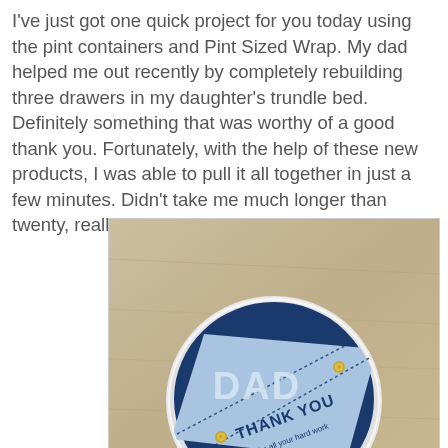I've just got one quick project for you today using the pint containers and Pint Sized Wrap. My dad helped me out recently by completely rebuilding three drawers in my daughter's trundle bed. Definitely something that was worthy of a good thank you. Fortunately, with the help of these new products, I was able to pull it all together in just a few minutes. Didn't take me much longer than twenty, really.
[Figure (photo): Top-down photo of a circular pint container lid decorated with a navy blue and light blue 'DAD THANK YOU for all your hard work' label, placed on a wooden surface. Two small gold brad fasteners are visible on the label.]